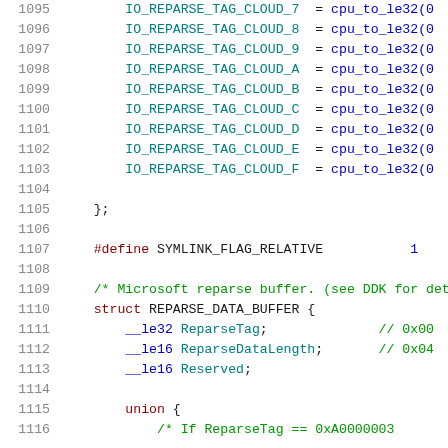Code listing lines 1095-1116: C source code showing IO_REPARSE_TAG_CLOUD definitions, SYMLINK_FLAG_RELATIVE define, and REPARSE_DATA_BUFFER struct definition